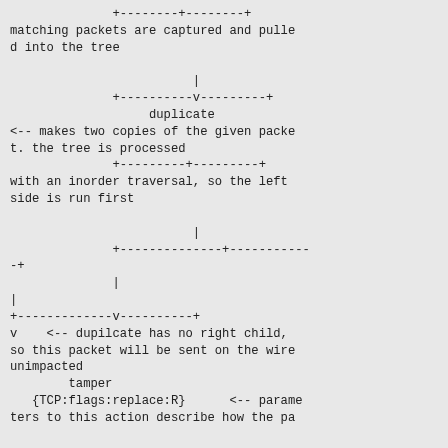+--------+--------+
matching packets are captured and pulled into the tree

                         |
              +----------v---------+
                   duplicate
<-- makes two copies of the given packet. the tree is processed
              +---------+---------+
with an inorder traversal, so the left side is run first

                         |
              +-------------+-----------+
              |
|
+-------------v----------+
v    <-- dupilcate has no right child, so this packet will be sent on the wire unimpacted
        tamper
   {TCP:flags:replace:R}        <-- parameters to this action describe how the pa